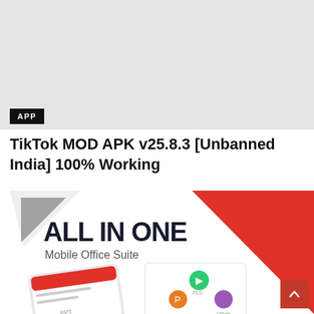[Figure (photo): Gray placeholder image at top of page representing a banner/header image area]
APP
TikTok MOD APK v25.8.3 [Unbanned India] 100% Working
[Figure (screenshot): All In One Mobile Office Suite promotional image showing mobile app interface with red background, white triangular design element, bold text 'ALL IN ONE' and subtitle 'Mobile Office Suite', with smartphone mockup showing app icons for PPT, Excel, and other office tools]